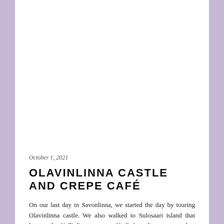[Figure (photo): A photograph taking up the top portion of the page (white/blank area in this view)]
October 1, 2021
OLAVINLINNA CASTLE AND CREPE CAFÉ
On our last day in Savonlinna, we started the day by touring Olavinlinna castle. We also walked to Sulosaari island that houses the Kalliolinna crepe café. Before dinner, we took a cruise around